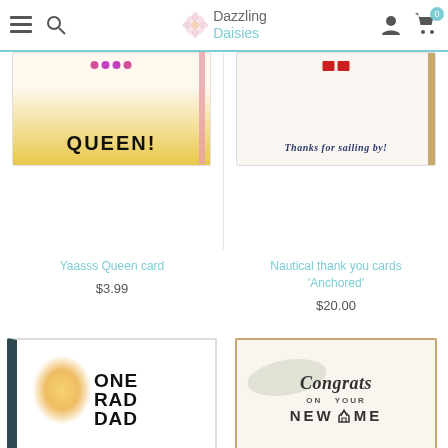Dazzling Daisies
[Figure (photo): Yaasss Queen greeting card with crown and bold QUEEN! text]
Yaasss Queen card
$3.99
[Figure (photo): Nautical thank you card 'Anchored' with sailing imagery and text 'Thanks for sailing by!']
Nautical thank you cards 'Anchored'
$20.00
[Figure (photo): ONE RAD DAD greeting card with dark teal border and yellow watercolor]
[Figure (photo): Congrats on Your New Home greeting card with watercolor brush stroke and house icon]